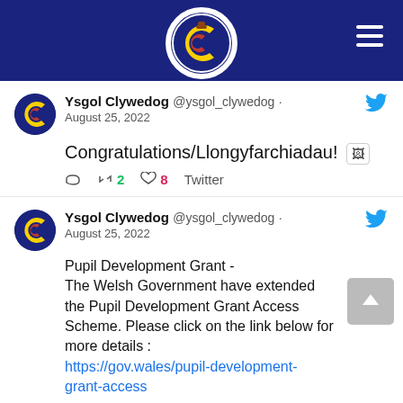[Figure (logo): Ysgol Clywedog school logo — circular emblem with yellow C shape on dark blue background, with red and brown accents, white border]
Ysgol Clywedog @ysgol_clywedog · August 25, 2022
Congratulations/Llongyfarchiadau!
2 retweets, 8 likes, Twitter
Ysgol Clywedog @ysgol_clywedog · August 25, 2022
Pupil Development Grant - The Welsh Government have extended the Pupil Development Grant Access Scheme. Please click on the link below for more details : https://gov.wales/pupil-development-grant-access